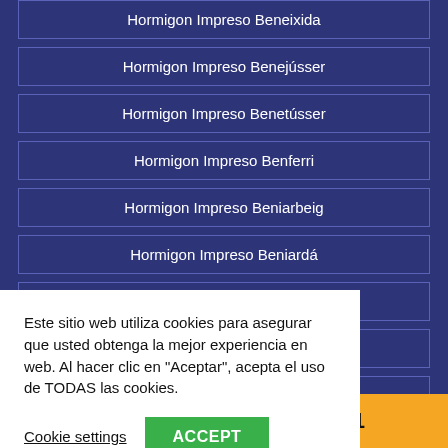Hormigon Impreso Beneixida
Hormigon Impreso Benejússer
Hormigon Impreso Benetússer
Hormigon Impreso Benferri
Hormigon Impreso Beniarbeig
Hormigon Impreso Beniardá
Hormigon Impreso Beniarjó
(partially visible)
(partially visible)
(partially visible)
(partially visible)
(partially visible)
Este sitio web utiliza cookies para asegurar que usted obtenga la mejor experiencia en web. Al hacer clic en "Aceptar", acepta el uso de TODAS las cookies.
Cookie settings   ACCEPT
¡Llámenos! 666 036 981